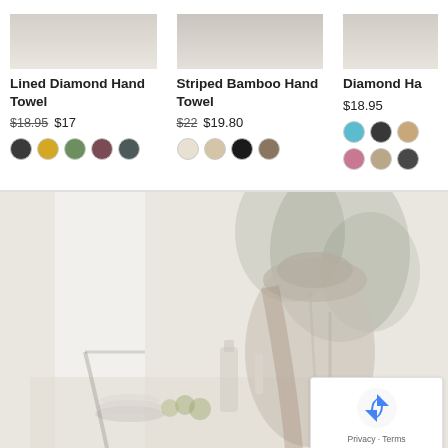[Figure (photo): Product image of Lined Diamond Hand Towel (cropped top)]
Lined Diamond Hand Towel
$18.95  $17
[Figure (photo): Product image of Striped Bamboo Hand Towel (cropped top)]
Striped Bamboo Hand Towel
$22  $19.80
[Figure (photo): Product image of Diamond Hand Towel (partially cropped on right)]
Diamond Ha...
$18.95
[Figure (photo): Lifestyle photo: woman with hat at a dining table with plants, bottles, fruits, and plates in a bright room]
[Figure (other): Google reCAPTCHA badge with logo and Privacy - Terms text]